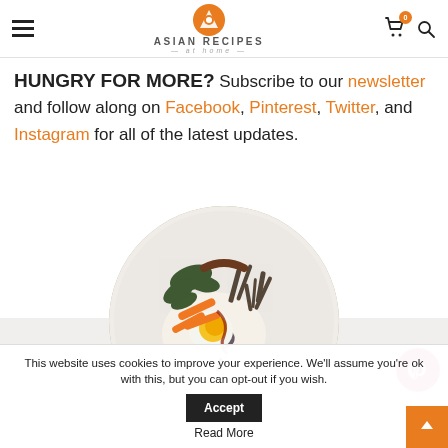ASIAN RECIPES at home — navigation header with hamburger menu, logo, cart and search icons
HUNGRY FOR MORE? Subscribe to our newsletter and follow along on Facebook, Pinterest, Twitter, and Instagram for all of the latest updates.
[Figure (photo): Circular food photo showing a bowl of Korean bibimbap with rice, fried egg with runny yolk, julienned carrots, sautéed mushrooms, and leafy greens, drizzled with sauce, on a white plate]
This website uses cookies to improve your experience. We'll assume you're ok with this, but you can opt-out if you wish.
Read More